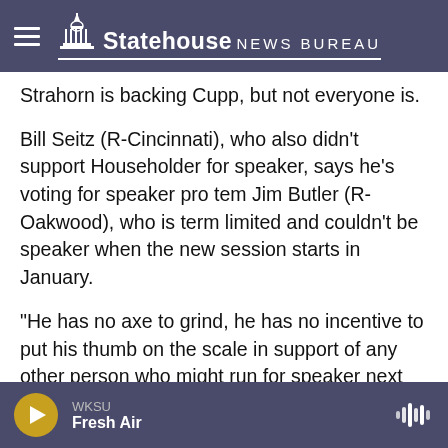Statehouse NEWS BUREAU
Strahorn is backing Cupp, but not everyone is.
Bill Seitz (R-Cincinnati), who also didn’t support Householder for speaker, says he’s voting for speaker pro tem Jim Butler (R-Oakwood), who is term limited and couldn’t be speaker when the new session starts in January.
“He has no axe to grind, he has no incentive to put his thumb on the scale in support of any other person who might run for speaker next year,” Seitz said.
Seitz said a floor vote for a new speaker won’t
WKSU Fresh Air